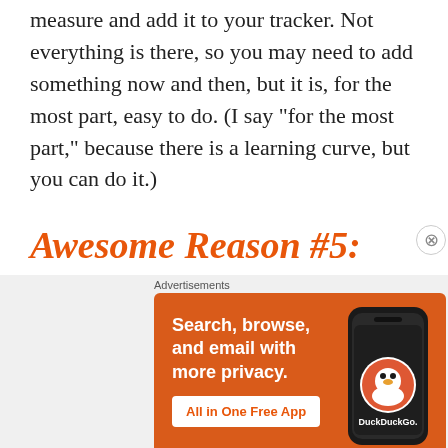measure and add it to your tracker. Not everything is there, so you may need to add something now and then, but it is, for the most part, easy to do. (I say “for the most part,” because there is a learning curve, but you can do it.)
Awesome Reason #5:
This site has terrific articles and videos about health related subjects. And I cannot overstate
[Figure (screenshot): DuckDuckGo advertisement banner with orange background. Text reads: Search, browse, and email with more privacy. All in One Free App. Shows a smartphone with DuckDuckGo logo.]